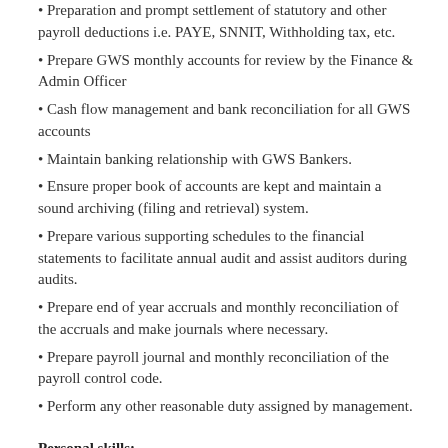Preparation and prompt settlement of statutory and other payroll deductions i.e. PAYE, SNNIT, Withholding tax, etc.
Prepare GWS monthly accounts for review by the Finance & Admin Officer
Cash flow management and bank reconciliation for all GWS accounts
Maintain banking relationship with GWS Bankers.
Ensure proper book of accounts are kept and maintain a sound archiving (filing and retrieval) system.
Prepare various supporting schedules to the financial statements to facilitate annual audit and assist auditors during audits.
Prepare end of year accruals and monthly reconciliation of the accruals and make journals where necessary.
Prepare payroll journal and monthly reconciliation of the payroll control code.
Perform any other reasonable duty assigned by management.
Personal skills: